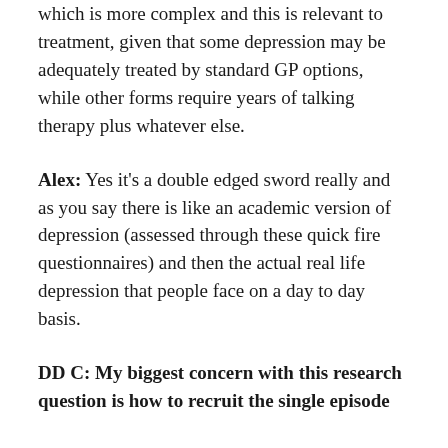which is more complex and this is relevant to treatment, given that some depression may be adequately treated by standard GP options, while other forms require years of talking therapy plus whatever else.
Alex: Yes it's a double edged sword really and as you say there is like an academic version of depression (assessed through these quick fire questionnaires) and then the actual real life depression that people face on a day to day basis.
DD C: My biggest concern with this research question is how to recruit the single episode